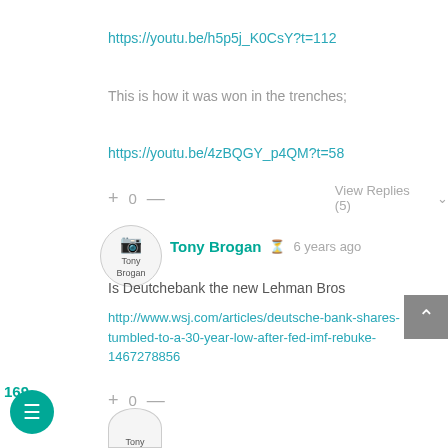https://youtu.be/h5p5j_K0CsY?t=112
This is how it was won in the trenches;
https://youtu.be/4zBQGY_p4QM?t=58
+ 0 —   View Replies (5)
[Figure (photo): Avatar image for Tony Brogan]
Tony Brogan   6 years ago
Is Deutchebank the new Lehman Bros
http://www.wsj.com/articles/deutsche-bank-shares-tumbled-to-a-30-year-low-after-fed-imf-rebuke-1467278856
+ 0 —
[Figure (photo): Small avatar image for Tony Brogan at bottom]